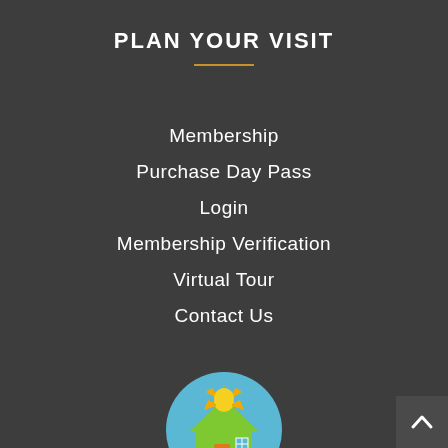PLAN YOUR VISIT
Membership
Purchase Day Pass
Login
Membership Verification
Virtual Tour
Contact Us
[Figure (logo): Circular logo with blue background showing a green house with orange door and blue window, yellow sun with star-like rays above the house roof]
[Figure (other): Back to top button with upward chevron arrow, dark gray square in bottom-right corner]